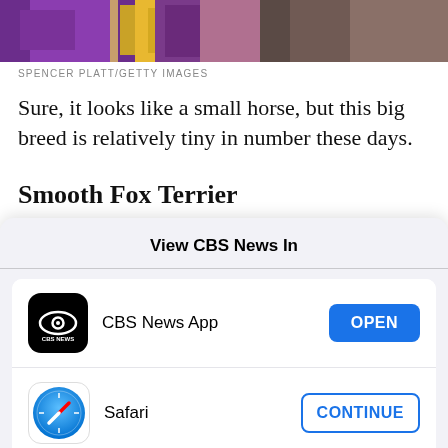[Figure (photo): Partial top image showing colorful ribbons/sashes, purple and gold, likely a dog show scene]
SPENCER PLATT/GETTY IMAGES
Sure, it looks like a small horse, but this big breed is relatively tiny in number these days.
Smooth Fox Terrier
[Figure (screenshot): iOS app picker modal: 'View CBS News In' with CBS News App (OPEN button) and Safari (CONTINUE button)]